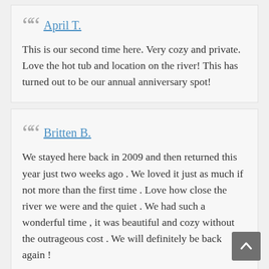April T.
This is our second time here. Very cozy and private. Love the hot tub and location on the river! This has turned out to be our annual anniversary spot!
Britten B.
We stayed here back in 2009 and then returned this year just two weeks ago . We loved it just as much if not more than the first time . Love how close the river we were and the quiet . We had such a wonderful time , it was beautiful and cozy without the outrageous cost . We will definitely be back again !